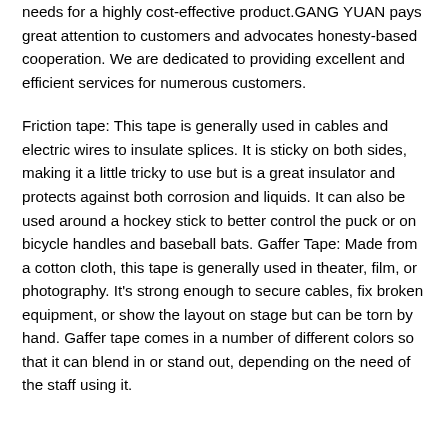needs for a highly cost-effective product.GANG YUAN pays great attention to customers and advocates honesty-based cooperation. We are dedicated to providing excellent and efficient services for numerous customers.
Friction tape: This tape is generally used in cables and electric wires to insulate splices. It is sticky on both sides, making it a little tricky to use but is a great insulator and protects against both corrosion and liquids. It can also be used around a hockey stick to better control the puck or on bicycle handles and baseball bats. Gaffer Tape: Made from a cotton cloth, this tape is generally used in theater, film, or photography. It's strong enough to secure cables, fix broken equipment, or show the layout on stage but can be torn by hand. Gaffer tape comes in a number of different colors so that it can blend in or stand out, depending on the need of the staff using it.